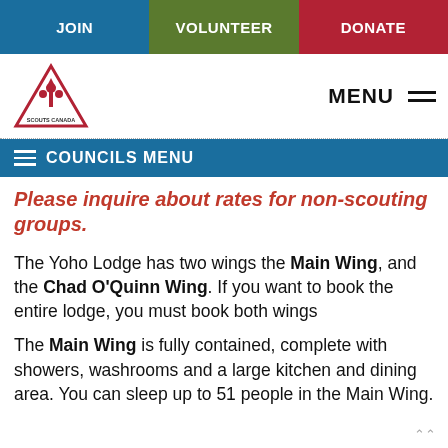JOIN | VOLUNTEER | DONATE
[Figure (logo): Scouts Canada triangle logo with hamburger MENU icon]
COUNCILS MENU
Please inquire about rates for non-scouting groups.
The Yoho Lodge has two wings the Main Wing, and the Chad O'Quinn Wing. If you want to book the entire lodge, you must book both wings
The Main Wing is fully contained, complete with showers, washrooms and a large kitchen and dining area. You can sleep up to 51 people in the Main Wing.